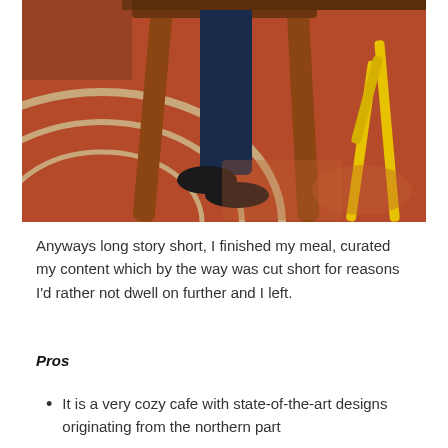[Figure (photo): Close-up photograph of table and chair legs, a person's feet wearing black flats visible under a wooden table. The floor has a distinctive red painted surface with circular arc designs in beige/cream color. A yellow chair is partially visible in the background.]
Anyways long story short, I finished my meal, curated my content which by the way was cut short for reasons I'd rather not dwell on further and I left.
Pros
It is a very cozy cafe with state-of-the-art designs originating from the northern part